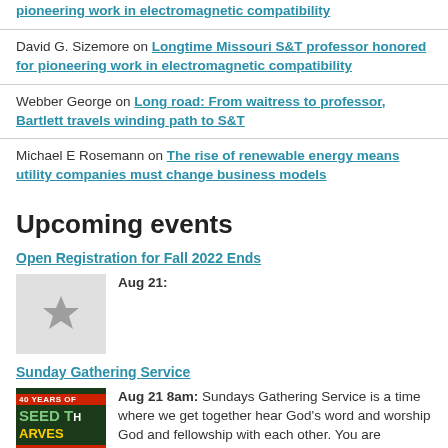pioneering work in electromagnetic compatibility
David G. Sizemore on Longtime Missouri S&T professor honored for pioneering work in electromagnetic compatibility
Webber George on Long road: From waitress to professor, Bartlett travels winding path to S&T
Michael E Rosemann on The rise of renewable energy means utility companies must change business models
Upcoming events
Open Registration for Fall 2022 Ends
Aug 21:
Sunday Gathering Service
Aug 21 8am: Sundays Gathering Service is a time where we get together hear God's word and worship God and fellowship with each other. You are welcome to fellowship with us this and...
Fall semester opens 8 a.m.